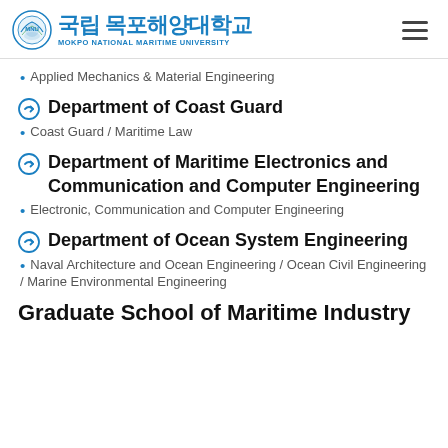국립 목포해양대학교 MOKPO NATIONAL MARITIME UNIVERSITY
Applied Mechanics & Material Engineering
Department of Coast Guard
Coast Guard / Maritime Law
Department of Maritime Electronics and Communication and Computer Engineering
Electronic, Communication and Computer Engineering
Department of Ocean System Engineering
Naval Architecture and Ocean Engineering / Ocean Civil Engineering / Marine Environmental Engineering
Graduate School of Maritime Industry